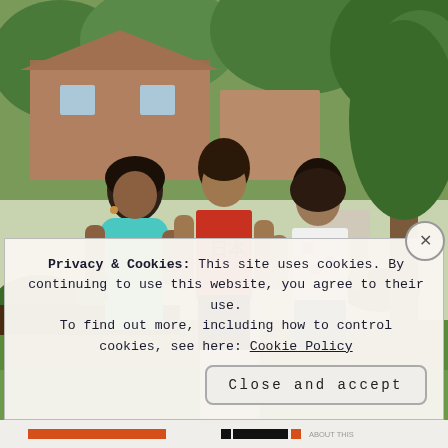[Figure (photo): Three children (two girls and a boy) standing outdoors in front of a brick house with trees and green shrubs. The girl on the left wears a teal dress, the boy in the middle wears a red t-shirt with Japanese characters, and the girl on the right wears a white floral top with a pink headband.]
Privacy & Cookies: This site uses cookies. By continuing to use this website, you agree to their use.
To find out more, including how to control cookies, see here: Cookie Policy
Close and accept